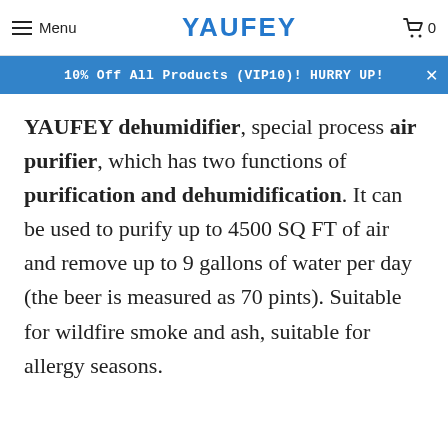YAUFEY
Menu
0
10% Off All Products (VIP10)! HURRY UP!
YAUFEY dehumidifier, special process air purifier, which has two functions of purification and dehumidification. It can be used to purify up to 4500 SQ FT of air and remove up to 9 gallons of water per day (the beer is measured as 70 pints). Suitable for wildfire smoke and ash, suitable for allergy seasons.